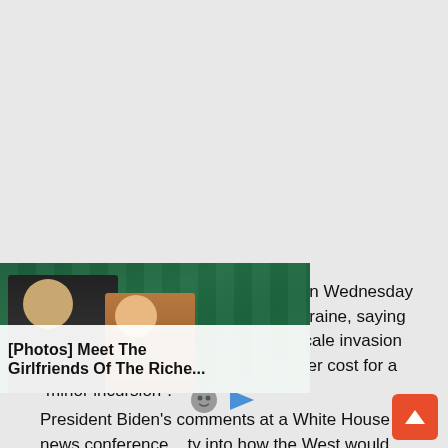US President Joe Biden predicted on Wednesday that Russia will make a move on Ukraine, saying Russia would pay dearly for a full-scale invasion but suggesting there could be a lower cost for a “minor incursion”.
[Figure (photo): Advertisement overlay showing two people sitting, with text '[Photos] Meet The Girlfriends Of The Riche...']
President Biden’s comments at a White House news conference ...ty into how the West would respond should Vladimir Putin order an invasion of Ukraine, prompting the White House later to seek to clarify what Biden